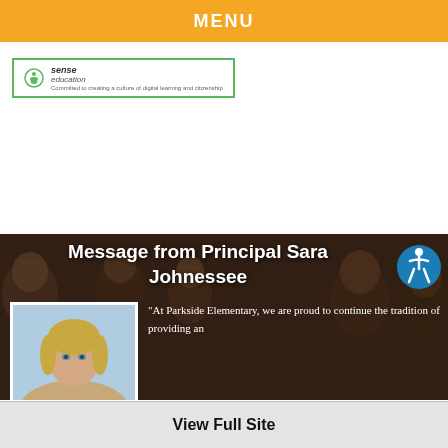MENU
[Figure (logo): Sense Education logo with green border and tagline: Committed to creating a culture of digital learning and citizenship]
Message from Principal Sara Johnessee
[Figure (photo): Portrait photo of Principal Sara Johnessee, a blonde woman looking upward, shown from shoulders up against a blue background]
"At Parkside Elementary, we are proud to continue the tradition of providing an
View Full Site